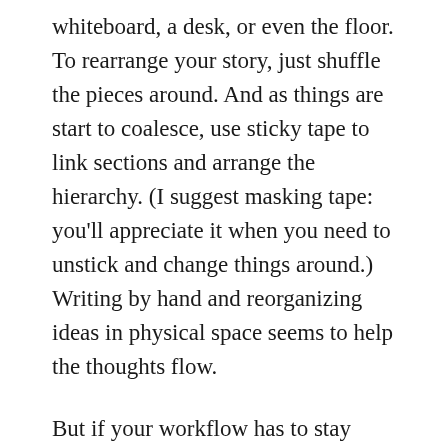whiteboard, a desk, or even the floor. To rearrange your story, just shuffle the pieces around. And as things are start to coalesce, use sticky tape to link sections and arrange the hierarchy. (I suggest masking tape: you'll appreciate it when you need to unstick and change things around.) Writing by hand and reorganizing ideas in physical space seems to help the thoughts flow.
But if your workflow has to stay digital, another breed of tool comes in really handy: the outliner. In essence, this provides infinitely nestable lists. Keyboard shortcuts let you indent or dedent list items, or move them around in the list. That's it. What do the list items represent? Whatever you want them to be. They could be chapters,